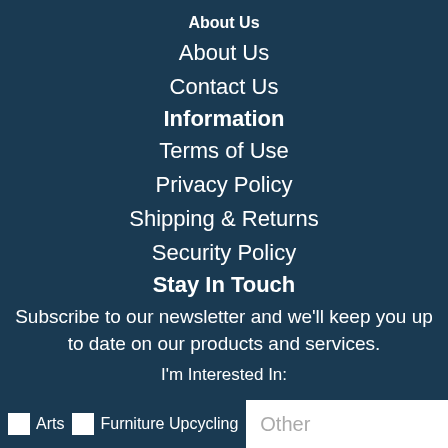About Us
About Us
Contact Us
Information
Terms of Use
Privacy Policy
Shipping & Returns
Security Policy
Stay In Touch
Subscribe to our newsletter and we'll keep you up to date on our products and services.
I'm Interested In:
Arts  Furniture Upcycling  Other